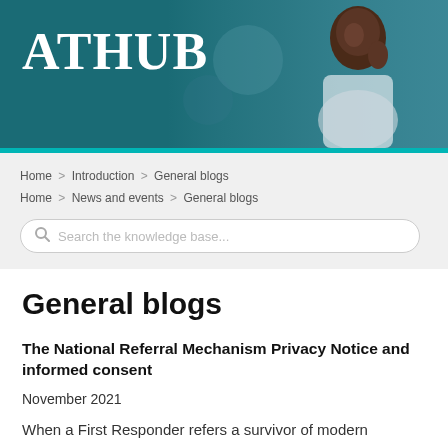[Figure (photo): ATHUB website header banner with logo text 'ATHUB' in white serif font on teal background, with a photo of a person on the right side]
Home > Introduction > General blogs
Home > News and events > General blogs
Search the knowledge base...
General blogs
The National Referral Mechanism Privacy Notice and informed consent
November 2021
When a First Responder refers a survivor of modern